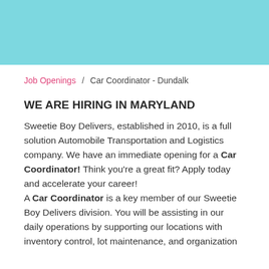Job Openings   Car Coordinator - Dundalk
WE ARE HIRING IN MARYLAND
Sweetie Boy Delivers, established in 2010, is a full solution Automobile Transportation and Logistics company. We have an immediate opening for a Car Coordinator! Think you're a great fit? Apply today and accelerate your career!
A Car Coordinator is a key member of our Sweetie Boy Delivers division. You will be assisting in our daily operations by supporting our locations with inventory control, lot maintenance, and organization